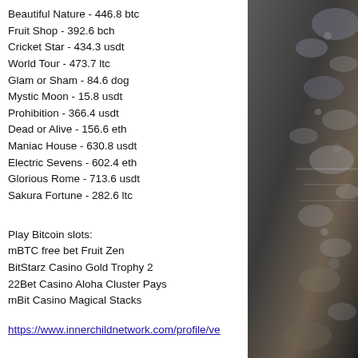Beautiful Nature - 446.8 btc
Fruit Shop - 392.6 bch
Cricket Star - 434.3 usdt
World Tour - 473.7 ltc
Glam or Sham - 84.6 dog
Mystic Moon - 15.8 usdt
Prohibition - 366.4 usdt
Dead or Alive - 156.6 eth
Maniac House - 630.8 usdt
Electric Sevens - 602.4 eth
Glorious Rome - 713.6 usdt
Sakura Fortune - 282.6 ltc
Play Bitcoin slots:
mBTC free bet Fruit Zen
BitStarz Casino Gold Trophy 2
22Bet Casino Aloha Cluster Pays
mBit Casino Magical Stacks
https://www.innerchildnetwork.com/profile/ve
[Figure (photo): Close-up photograph of rocks, pebbles and water, dark tones with some light reflections]